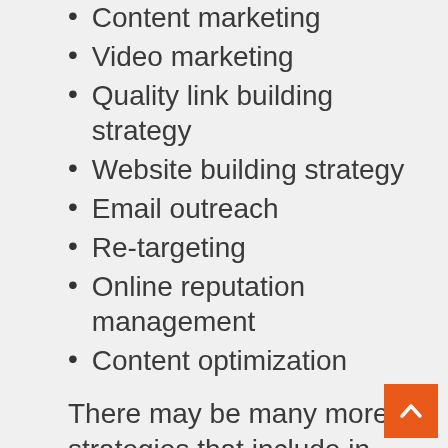Content marketing
Video marketing
Quality link building strategy
Website building strategy
Email outreach
Re-targeting
Online reputation management
Content optimization
There may be many more strategies that include in digital marketing services but above